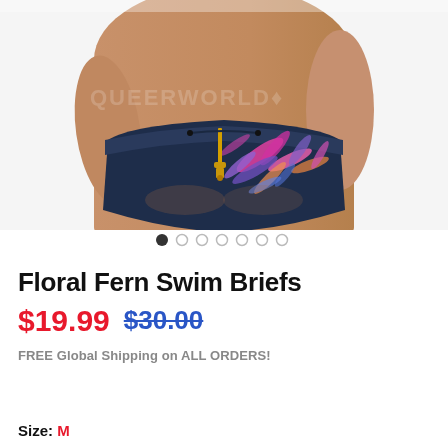[Figure (photo): Model wearing Floral Fern Swim Briefs — navy blue swimwear with pink, purple, and coral tropical fern/palm leaf print pattern, with gold zipper detail and drawstring waistband. Watermark text 'QUEERWORLDJ' faintly visible.]
• • • • • • •  (carousel dots, first dot active)
Floral Fern Swim Briefs
$19.99  $30.00
FREE Global Shipping on ALL ORDERS!
Size: M